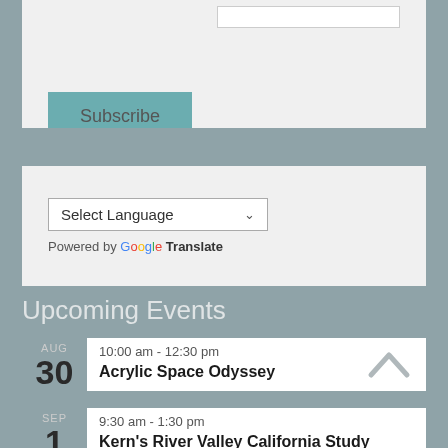[Figure (screenshot): Subscribe button area with teal/muted green Subscribe button on light gray background]
[Figure (screenshot): Google Translate widget with 'Select Language' dropdown and 'Powered by Google Translate' text]
Upcoming Events
AUG 30 — 10:00 am - 12:30 pm — Acrylic Space Odyssey
SEP 1 — 9:30 am - 1:30 pm — Kern's River Valley California Study